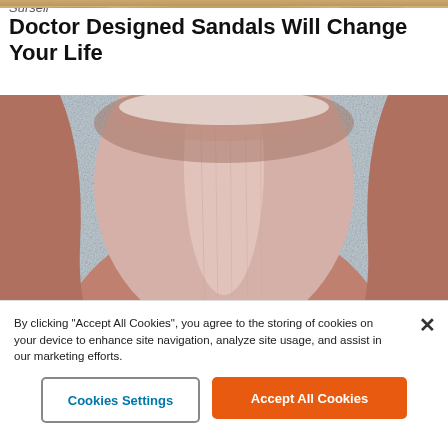[Figure (photo): Partial strip of decorative sandal image at the very top of the page]
Doctor Designed Sandals Will Change Your Life
Sursell
[Figure (photo): Close-up macro photograph of a human fingernail/toenail, showing ridges and cuticle detail, against a blueish-gray speckled background]
By clicking “Accept All Cookies”, you agree to the storing of cookies on your device to enhance site navigation, analyze site usage, and assist in our marketing efforts.
Cookies Settings
Accept All Cookies